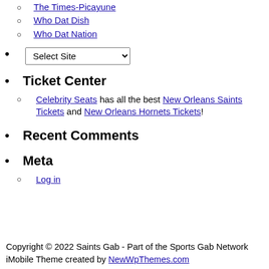The Times-Picayune
Who Dat Dish
Who Dat Nation
• (bullet with select dropdown)
Ticket Center
Celebrity Seats has all the best New Orleans Saints Tickets and New Orleans Hornets Tickets!
Recent Comments
Meta
Log in
Copyright © 2022 Saints Gab - Part of the Sports Gab Network iMobile Theme created by NewWpThemes.com